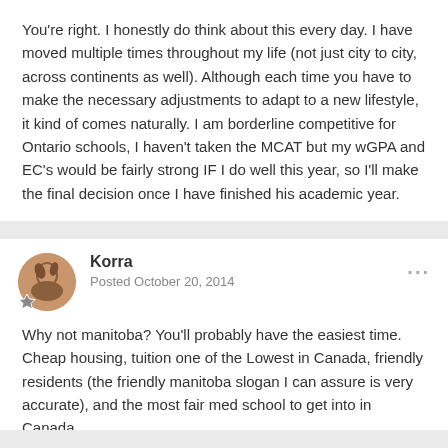You're right. I honestly do think about this every day. I have moved multiple times throughout my life (not just city to city, across continents as well). Although each time you have to make the necessary adjustments to adapt to a new lifestyle, it kind of comes naturally. I am borderline competitive for Ontario schools, I haven't taken the MCAT but my wGPA and EC's would be fairly strong IF I do well this year, so I'll make the final decision once I have finished his academic year.
Korra
Posted October 20, 2014
Why not manitoba? You'll probably have the easiest time. Cheap housing, tuition one of the Lowest in Canada, friendly residents (the friendly manitoba slogan I can assure is very accurate), and the most fair med school to get into in Canada.